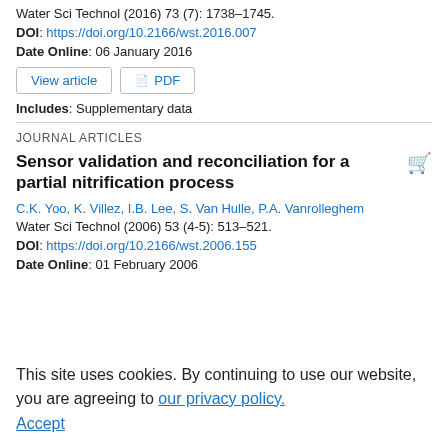Water Sci Technol (2016) 73 (7): 1738–1745.
DOI: https://doi.org/10.2166/wst.2016.007
Date Online: 06 January 2016
View article | PDF
Includes: Supplementary data
JOURNAL ARTICLES
Sensor validation and reconciliation for a partial nitrification process
C.K. Yoo, K. Villez, I.B. Lee, S. Van Hulle, P.A. Vanrolleghem
Water Sci Technol (2006) 53 (4-5): 513–521.
DOI: https://doi.org/10.2166/wst.2006.155
Date Online: 01 February 2006
This site uses cookies. By continuing to use our website, you are agreeing to our privacy policy. Accept